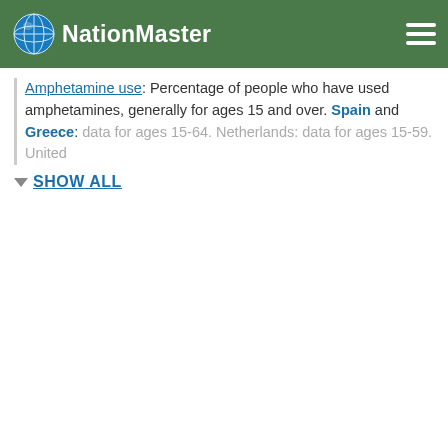NationMaster
Amphetamine use: Percentage of people who have used amphetamines, generally for ages 15 and over. Spain and Greece: data for ages 15-64. Netherlands: data for ages 15-59. United
SHOW ALL